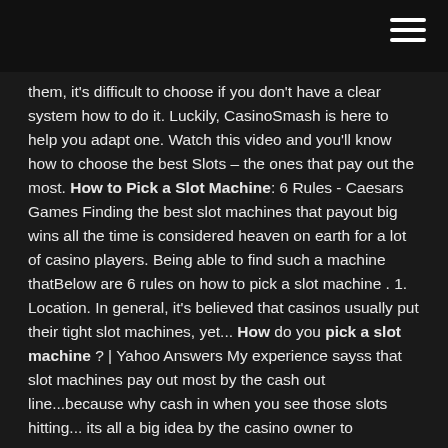[navigation header bar with hamburger menu]
them, it's difficult to choose if you don't have a clear system how to do it. Luckily, CasinoSmash is here to help you adapt one. Watch this video and you'll know how to choose the best Slots – the ones that pay out the most. How to Pick a Slot Machine: 6 Rules - Caesars Games Finding the best slot machines that payout big wins all the time is considered heaven on earth for a lot of casino players. Being able to find such a machine thatBelow are 6 rules on how to pick a slot machine . 1. Location. In general, it's believed that casinos usually put their tight slot machines, yet... How do you pick a slot machine ? | Yahoo Answers My experience sayss that slot machines pay out most by the cash out line...because why cash in when you see those slots hitting... its all a big idea by the casino owner to